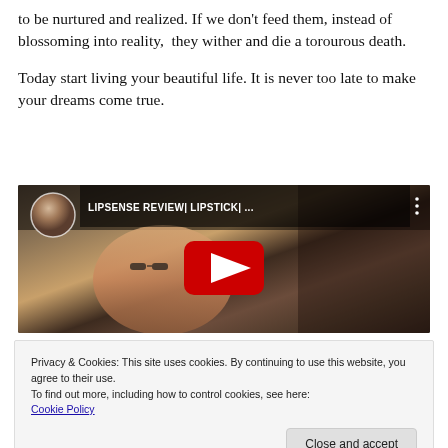to be nurtured and realized. If we don't feed them, instead of blossoming into reality,  they wither and die a torourous death.
Today start living your beautiful life. It is never too late to make your dreams come true.
[Figure (screenshot): YouTube video thumbnail showing 'LIPSENSE REVIEW| LIPSTICK| ...' with a play button overlay. Shows a woman with sunglasses and a circular profile picture in the top left corner.]
Privacy & Cookies: This site uses cookies. By continuing to use this website, you agree to their use.
To find out more, including how to control cookies, see here:
Cookie Policy